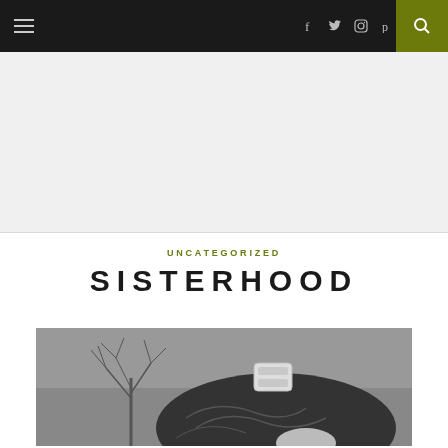Navigation bar with hamburger menu, social icons (Facebook, Twitter, Instagram, Pinterest), and search button
[Figure (other): Light gray banner/advertisement area below navigation bar]
UNCATEGORIZED
SISTERHOOD
[Figure (photo): Black and white photograph showing the back of a person's head with dark hair held by a white clip/barrette, with a bare tree visible in the background]